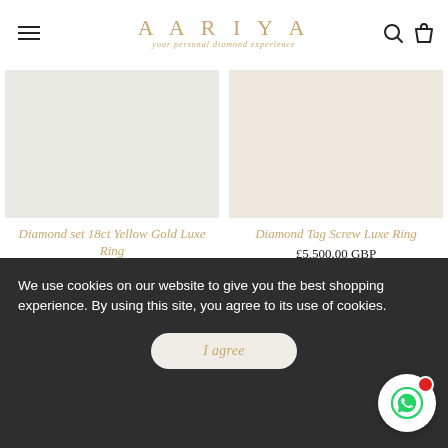AARIYA — your personal diamond experience
[Figure (photo): Product image placeholder for Diamond set 18ct Yellow Gold Luxe Ring — light grey background]
Diamond set 18ct Yellow Gold Luxe Ring
£4,700.00 GBP
[Figure (photo): Product image placeholder for Diamond Tag Screw Luxe Ring — light cream/beige background]
Diamond Tag Screw Luxe Ring
£5,500.00 GBP
We use cookies on our website to give you the best shopping experience. By using this site, you agree to its use of cookies.
I agree